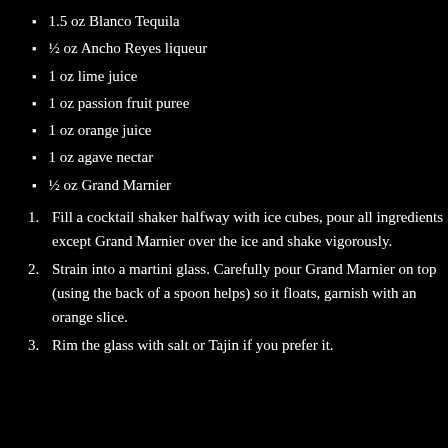1.5 oz Blanco Tequila
½ oz Ancho Reyes liqueur
1 oz lime juice
1 oz passion fruit puree
1 oz orange juice
1 oz agave nectar
½ oz Grand Marnier
Fill a cocktail shaker halfway with ice cubes, pour all ingredients except Grand Marnier over the ice and shake vigorously.
Strain into a martini glass. Carefully pour Grand Marnier on top (using the back of a spoon helps) so it floats, garnish with an orange slice.
Rim the glass with salt or Tajin if you prefer it.